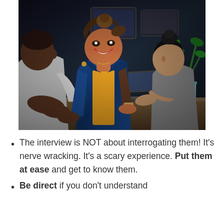[Figure (photo): Three people sitting at a desk in an office setting. A smiling woman in a blue jacket and yellow top faces the camera in the center, with a man in a white shirt on the left with his back to the viewer, and a woman on the right working on a laptop. A plant and monitor are visible in the background.]
The interview is NOT about interrogating them! It's nerve wracking. It's a scary experience. Put them at ease and get to know them.
Be direct if you don't understand